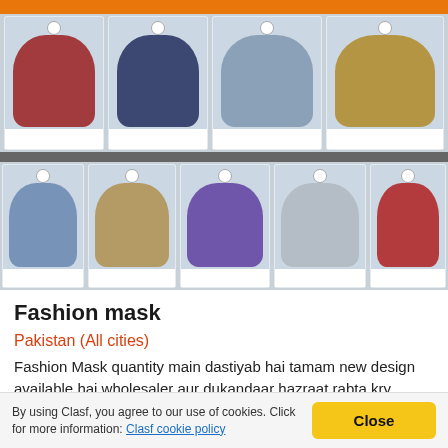[Figure (photo): Display of multiple patterned fabric face masks hanging in clear plastic packaging on a retail shelf. Top row has 4 masks in dark red/maroon, dark navy blue, light blue-grey, and gold/olive patterns. Bottom row has 5 masks in light blue dots, tan/khaki, purple circles, white floral, and red patterns.]
Fashion mask
Pakistan (All cities)
Fashion Mask quantity main dastiyab hai tamam new design available hai wholesaler aur dukandaar hazraat rabta kry Delivery poory pakistan available hai include Gilgit Baktistan and azad kashmir. one nice price. 30
By using Clasf, you agree to our use of cookies. Click for more information: Clasf cookie policy